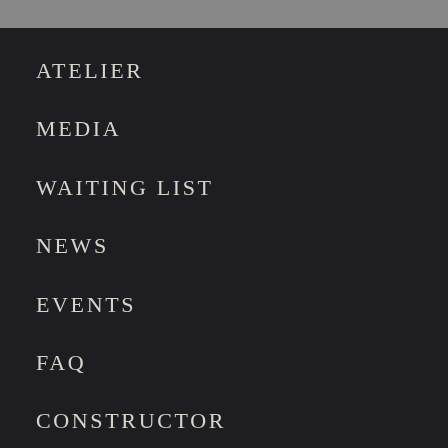ATELIER
MEDIA
WAITING LIST
NEWS
EVENTS
FAQ
CONSTRUCTOR